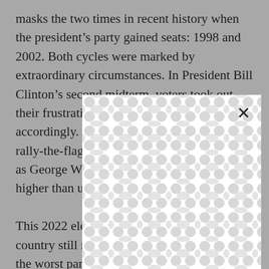masks the two times in recent history when the president's party gained seats: 1998 and 2002. Both cycles were marked by extraordinary circumstances. In President Bill Clinton's second midterm, voters took out their frustration on impeachment proceedings accordingly. In 2002, there was a powerful rally-the-flag effect in the aftermath of 9/11 as George W. Bush's approval ratings were higher than usual.

This 2022 election takes place with the country still recovering economically from the worst pandemic in 100 years. A sense of contentment and confidence that the country is headed in the right direction could tame normal angst from midterm voters toward the party in
[Figure (other): A modal dialog overlay with a decorative interlocking circles/bubbles pattern in light gray on white background, with a close (×) button in the upper right corner.]